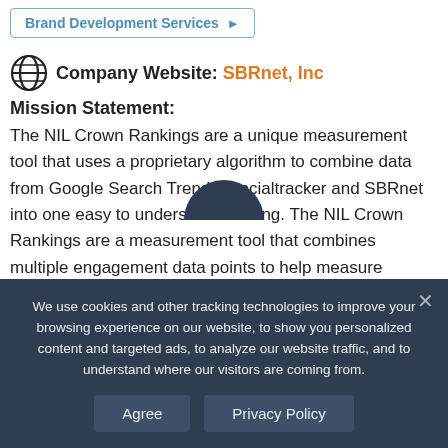Brand Development Services ▶
Company Website: SBRnet, Inc
Mission Statement:
The NIL Crown Rankings are a unique measurement tool that uses a proprietary algorithm to combine data from Google Search Trends. Socialtracker and SBRnet into one easy to understand ranking. The NIL Crown Rankings are a measurement tool that combines multiple engagement data points to help measure athlete value and quantify opportunities.
NIL Network Verified ▶
We use cookies and other tracking technologies to improve your browsing experience on our website, to show you personalized content and targeted ads, to analyze our website traffic, and to understand where our visitors are coming from.